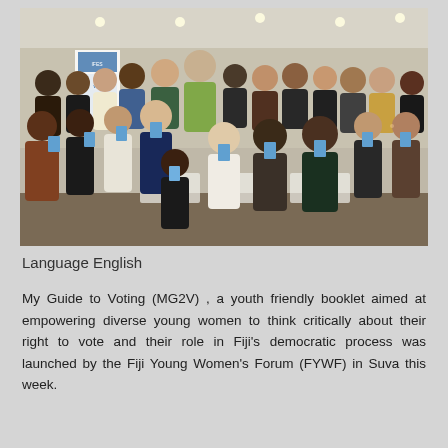[Figure (photo): Large group photo of approximately 50 diverse young people holding booklets, seated and standing in rows in an indoor conference/function room setting. Banners visible in background. Part of a Fiji Young Women's Forum event.]
Language English
My Guide to Voting (MG2V) , a youth friendly booklet aimed at empowering diverse young women to think critically about their right to vote and their role in Fiji's democratic process was launched by the Fiji Young Women's Forum (FYWF) in Suva this week.